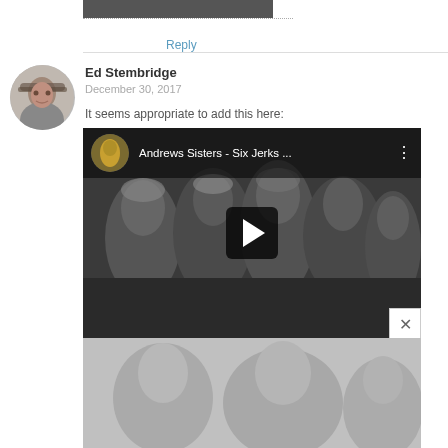Reply
Ed Stembridge
December 30, 2017
It seems appropriate to add this here:
[Figure (screenshot): YouTube video embed showing 'Andrews Sisters - Six Jerks ...' with a black and white thumbnail of a group of people, a play button overlay, and a close button in the corner.]